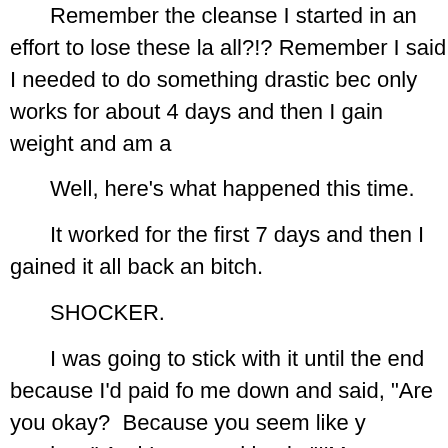Remember the cleanse I started in an effort to lose these la all?!? Remember I said I needed to do something drastic bec only works for about 4 days and then I gain weight and am a
Well, here's what happened this time.
It worked for the first 7 days and then I gained it all back an bitch.
SHOCKER.
I was going to stick with it until the end because I'd paid fo me down and said, "Are you okay?  Because you seem like y weeks..." And I snapped back, "I'M FUCKING HUNGRY" - I k something.
The diet wasn't working.  I'd gained back all the weight I'd l wasn't cheating or eating anything I wasn't supposed to eat. the two women who had introduced me to the diet and they C cheese, alcohol and bread while I had a dry salad.  And they